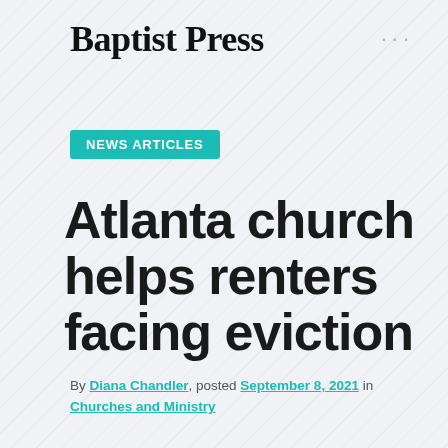Baptist Press
NEWS ARTICLES
Atlanta church helps renters facing eviction
By Diana Chandler, posted September 8, 2021 in Churches and Ministry